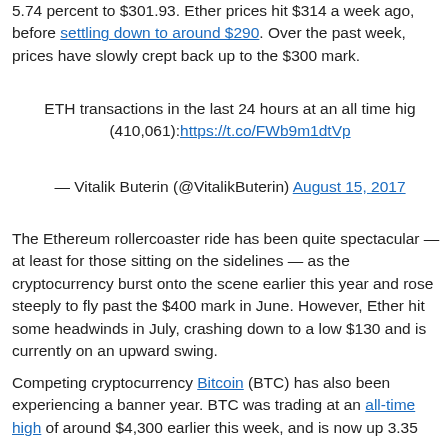5.74 percent to $301.93. Ether prices hit $314 a week ago, before settling down to around $290. Over the past week, prices have slowly crept back up to the $300 mark.
ETH transactions in the last 24 hours at an all time high (410,061): https://t.co/FWb9m1dtVp
— Vitalik Buterin (@VitalikButerin) August 15, 2017
The Ethereum rollercoaster ride has been quite spectacular — at least for those sitting on the sidelines — as the cryptocurrency burst onto the scene earlier this year and rose steeply to fly past the $400 mark in June. However, Ether hit some headwinds in July, crashing down to a low $130 and is currently on an upward swing.
Competing cryptocurrency Bitcoin (BTC) has also been experiencing a banner year. BTC was trading at an all-time high of around $4,300 earlier this week, and is now up 3.35